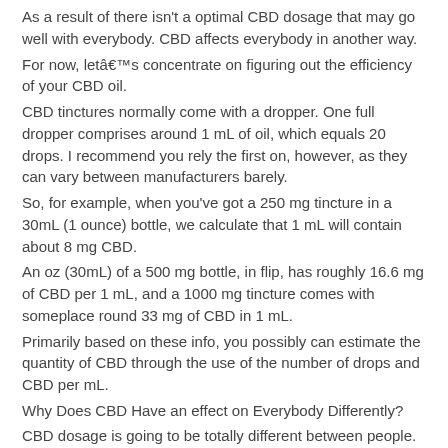As a result of there isn't a optimal CBD dosage that may go well with everybody. CBD affects everybody in another way.
For now, letâ€™s concentrate on figuring out the efficiency of your CBD oil.
CBD tinctures normally come with a dropper. One full dropper comprises around 1 mL of oil, which equals 20 drops. I recommend you rely the first on, however, as they can vary between manufacturers barely.
So, for example, when you've got a 250 mg tincture in a 30mL (1 ounce) bottle, we calculate that 1 mL will contain about 8 mg CBD.
An oz (30mL) of a 500 mg bottle, in flip, has roughly 16.6 mg of CBD per 1 mL, and a 1000 mg tincture comes with someplace round 33 mg of CBD in 1 mL.
Primarily based on these info, you possibly can estimate the quantity of CBD through the use of the number of drops and CBD per mL.
Why Does CBD Have an effect on Everybody Differently?
CBD dosage is going to be totally different between people. This has to do with several elements that impression the best way CBD impacts your body, together with:
Å·Genetic Predispositions
Å·Gender